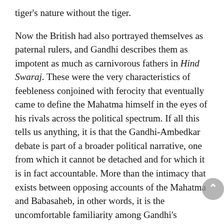tiger's nature without the tiger.
Now the British had also portrayed themselves as paternal rulers, and Gandhi describes them as impotent as much as carnivorous fathers in Hind Swaraj. These were the very characteristics of feebleness conjoined with ferocity that eventually came to define the Mahatma himself in the eyes of his rivals across the political spectrum. If all this tells us anything, it is that the Gandhi-Ambedkar debate is part of a broader political narrative, one from which it cannot be detached and for which it is in fact accountable. More than the intimacy that exists between opposing accounts of the Mahatma and Babasaheb, in other words, it is the uncomfortable familiarity among Gandhi's enemies that needs considering.